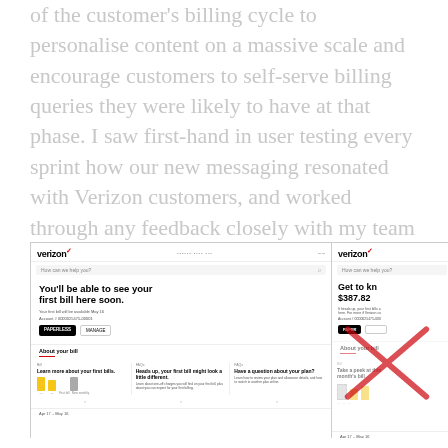of the customer's billing cycle to personalise content on a massive scale and encourage customers to self-serve billing queries they were likely to have at that phase. I saw first-hand in user testing every sprint how our new messaging resonated with Verizon customers, and worked through any feedback closely with my team to ensure the content reflected the concerns of users.
[Figure (screenshot): Two Verizon mobile app screenshots side by side. Left screenshot shows a page 'You'll be able to see your first bill here soon.' with About your bill section showing FAQ cards including 'Learn more about your first bills.', 'Heads up, your first bill might look a little different.', 'Have a question about your plan?' and bar charts. Right screenshot shows a partially visible page 'Get to know your $387.82' bill with a red X overlay and 'Take a peek at this month's bill' section, also partially visible.]
Apr 17 – May 16